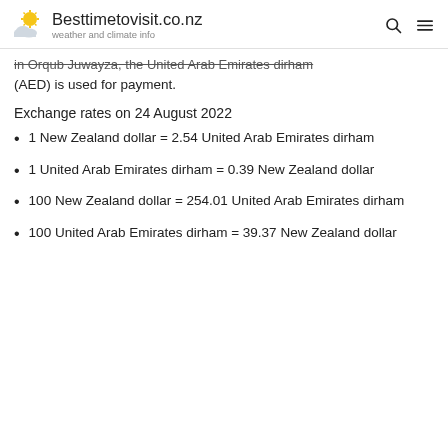Besttimetovisit.co.nz — weather and climate info
in Orqub Juwayza, the United Arab Emirates dirham (AED) is used for payment.
Exchange rates on 24 August 2022
1 New Zealand dollar = 2.54 United Arab Emirates dirham
1 United Arab Emirates dirham = 0.39 New Zealand dollar
100 New Zealand dollar = 254.01 United Arab Emirates dirham
100 United Arab Emirates dirham = 39.37 New Zealand dollar